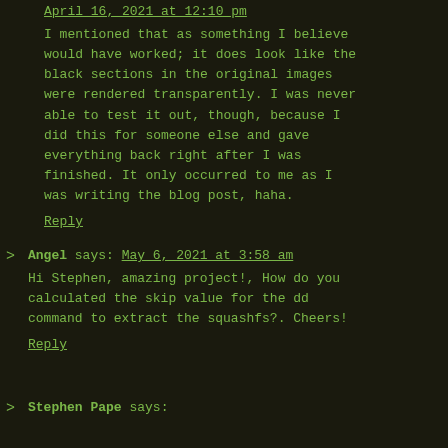April 16, 2021 at 12:10 pm
I mentioned that as something I believe would have worked; it does look like the black sections in the original images were rendered transparently. I was never able to test it out, though, because I did this for someone else and gave everything back right after I was finished. It only occurred to me as I was writing the blog post, haha.
Reply
Angel says: May 6, 2021 at 3:58 am
Hi Stephen, amazing project!, How do you calculated the skip value for the dd command to extract the squashfs?. Cheers!
Reply
Stephen Pape says: